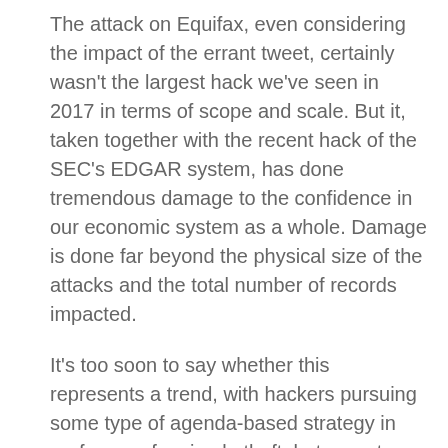The attack on Equifax, even considering the impact of the errant tweet, certainly wasn't the largest hack we've seen in 2017 in terms of scope and scale. But it, taken together with the recent hack of the SEC's EDGAR system, has done tremendous damage to the confidence in our economic system as a whole. Damage is done far beyond the physical size of the attacks and the total number of records impacted.
It's too soon to say whether this represents a trend, with hackers pursuing some type of agenda-based strategy in preference for simple theft, but recent events could very well be interpreted in that way. Time will tell.
In any case, the answer to the question asked in the headline is yes. For a brief time, Equifax did indeed direct its users via Twitter, to a bogus site.